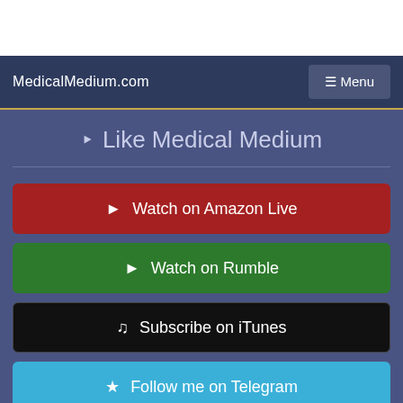MedicalMedium.com   ≡ Menu
Like Medical Medium
Watch on Amazon Live
Watch on Rumble
Subscribe on iTunes
Follow me on Telegram
Follow on Facebook
Watch on Youtube